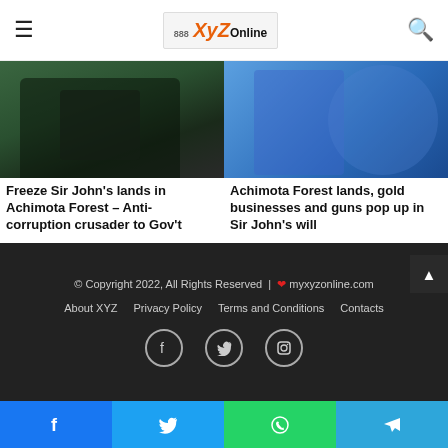XyZOnline — navigation header with hamburger menu, logo, and search icon
[Figure (photo): Photo of person sitting at desk with papers, dark background with green tones]
Freeze Sir John's lands in Achimota Forest – Anti-corruption crusader to Gov't
May 23, 2022
[Figure (photo): Photo of person in blue shirt, blue background]
Achimota Forest lands, gold businesses and guns pop up in Sir John's will
May 23, 2022
© Copyright 2022, All Rights Reserved | ❤ myxyzonline.com
About XYZ   Privacy Policy   Terms and Conditions   Contacts
[Facebook] [Twitter] [Instagram]